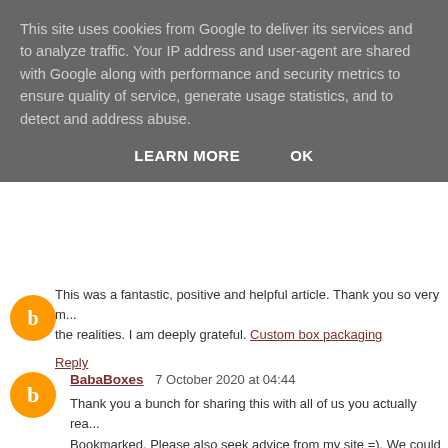This site uses cookies from Google to deliver its services and to analyze traffic. Your IP address and user-agent are shared with Google along with performance and security metrics to ensure quality of service, generate usage statistics, and to detect and address abuse.
LEARN MORE   OK
This was a fantastic, positive and helpful article. Thank you so very m... the realities. I am deeply grateful. Custom box packaging
Reply
BabaBoxes  7 October 2020 at 04:44
Thank you a bunch for sharing this with all of us you actually rea... Bookmarked. Please also seek advice from my site =). We could h... between us! Custom Mailer Boxes
Reply
Packaging Printers  1 December 2020 at 03:16
Goood website!
send great work keep it up new birthday wishes
Reply